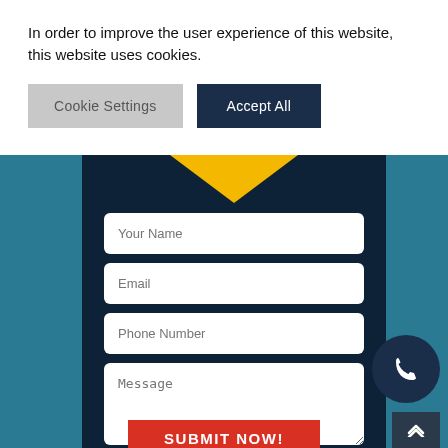In order to improve the user experience of this website, this website uses cookies.
[Figure (screenshot): Cookie consent banner with 'Cookie Settings' (grey button) and 'Accept All' (dark navy button)]
[Figure (screenshot): Contact form on dark navy card with teal background. Fields: Your Name, Email, Phone Number, Message (textarea). Red SUBMIT NOW button partially visible at bottom. Phone icon bubble and scroll-to-top button visible at bottom right.]